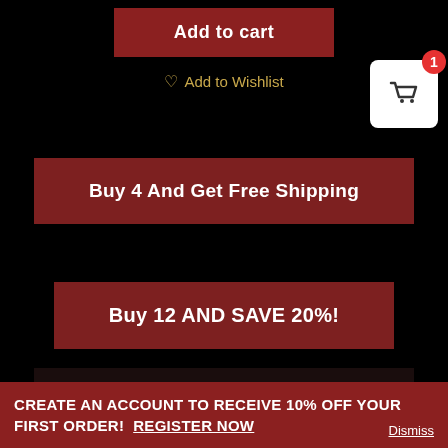Add to cart
♡  Add to Wishlist
[Figure (screenshot): Shopping cart icon with badge showing '1' on white rounded square background]
Buy 4 And Get Free Shipping
Buy 12 AND SAVE 20%!
[Figure (photo): Photo of hot sauce bottle with smoke and orange food items on dark background]
CREATE AN ACCOUNT TO RECEIVE 10% OFF YOUR FIRST ORDER!  REGISTER NOW
Dismiss